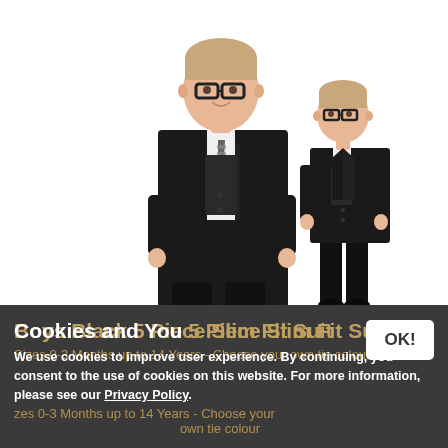[Figure (photo): Two young boys wearing black 5-piece slim fit suits with white shirts, dark patterned ties, and black glasses, posed against a white background. The left boy is shown in a closer view, the right boy is shown in a full-length view.]
Cookies and You
We use cookies to improve user experience. By continuing, you consent to the use of cookies on this website. For more information, please see our Privacy Policy.
Boys Black 5 Piece Slim Fit Suit
Sizes 0-3 Months up to 14 Years - Choose your own tie colour